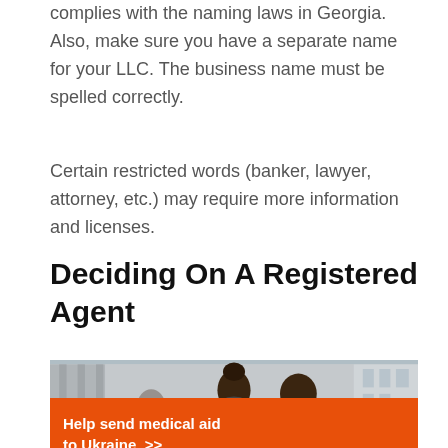complies with the naming laws in Georgia. Also, make sure you have a separate name for your LLC. The business name must be spelled correctly.
Certain restricted words (banker, lawyer, attorney, etc.) may require more information and licenses.
Deciding On A Registered Agent
[Figure (photo): Photo of two people (a woman smiling and a man) seen from behind/side in an outdoor or office setting. An orange advertisement banner for Direct Relief overlays the bottom of the photo.]